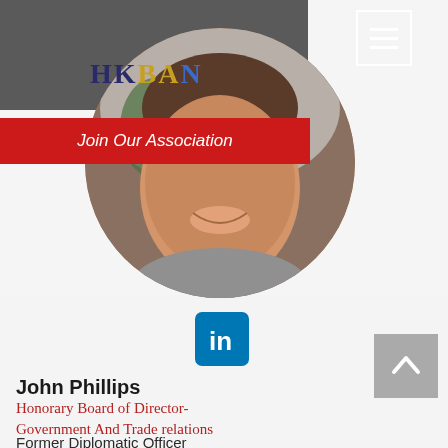[Figure (screenshot): HKBAN website screenshot showing a profile page with dark top bar containing HKBAN logo, a red 'Join Our Association' banner, a circular profile photo of John Phillips, LinkedIn icon, name, title and description text.]
HKBAN
Join Our Association
[Figure (logo): LinkedIn square blue icon with 'in' logo]
John Phillips
Honorary Board of Director- Government And Trade relations
Former Diplomatic Officer (UK), & Economic